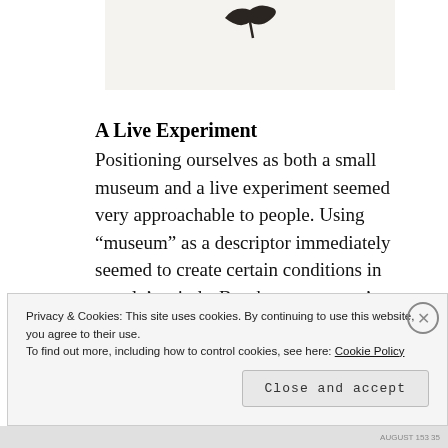[Figure (photo): Partial photo of a document or artwork with a dark curved mark visible at top, on a light/white background.]
A Live Experiment
Positioning ourselves as both a small museum and a live experiment seemed very approachable to people. Using “museum” as a descriptor immediately seemed to create certain conditions in people’s minds. But then, to say we’re were
Privacy & Cookies: This site uses cookies. By continuing to use this website, you agree to their use.
To find out more, including how to control cookies, see here: Cookie Policy
Close and accept